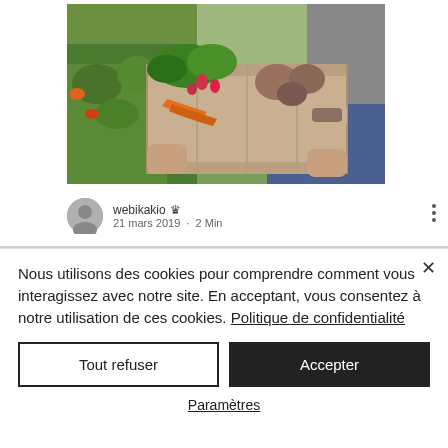[Figure (photo): Person holding a wooden crate filled with fresh vegetables including radishes, carrots, potatoes, and leafy greens, with a green garden background.]
webikakio 👑
21 mars 2019 · 2 Min
Nous utilisons des cookies pour comprendre comment vous interagissez avec notre site. En acceptant, vous consentez à notre utilisation de ces cookies. Politique de confidentialité
Tout refuser
Accepter
Paramètres